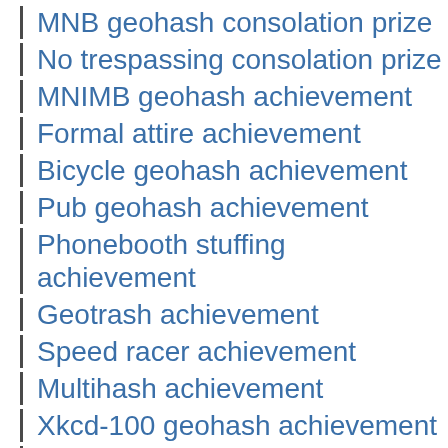MNB geohash consolation prize
No trespassing consolation prize
MNIMB geohash achievement
Formal attire achievement
Bicycle geohash achievement
Pub geohash achievement
Phonebooth stuffing achievement
Geotrash achievement
Speed racer achievement
Multihash achievement
Xkcd-100 geohash achievement
Low geohash achievement
Last man standing achievement
Consecutive geohash achievement
Geoflashing achievement
Calendar girl achievement